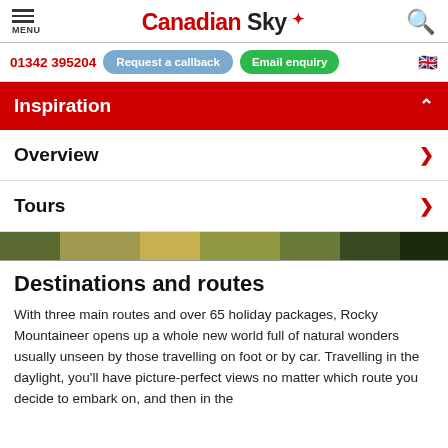MENU | Canadian Sky | Search
01342 395204 | Request a callback | Email enquiry
Inspiration
Overview
Tours
[Figure (photo): Partial scenic photo strip showing foliage and dark tones]
Destinations and routes
With three main routes and over 65 holiday packages, Rocky Mountaineer opens up a whole new world full of natural wonders usually unseen by those travelling on foot or by car. Travelling in the daylight, you'll have picture-perfect views no matter which route you decide to embark on, and then in the evenings you'll be transferred to a lavish hotel where your...